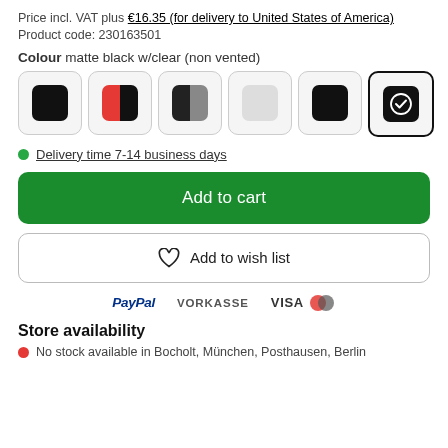Price incl. VAT plus €16.35 (for delivery to United States of America)
Product code: 230163501
Colour matte black w/clear (non vented)
[Figure (other): Six colour swatch options for product. Five plain/half-colour swatches and one selected (matte black w/clear, non vented) shown with checkmark.]
Delivery time 7-14 business days
Add to cart
Add to wish list
[Figure (other): Payment method logos: PayPal, VORKASSE, VISA with Mastercard symbol]
Store availability
No stock available in Bocholt, München, Posthausen, Berlin